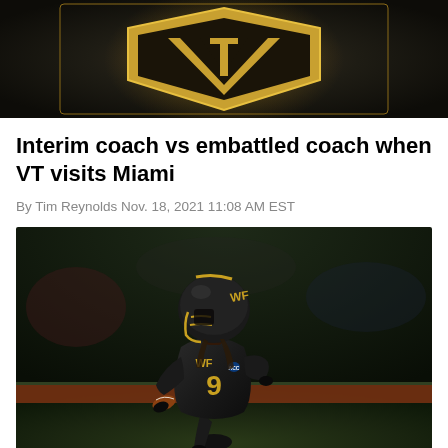[Figure (photo): Top banner photo showing Virginia Tech VT logo/helmet in gold and dark background]
Interim coach vs embattled coach when VT visits Miami
By Tim Reynolds Nov. 18, 2021 11:08 AM EST
[Figure (photo): Football player wearing black Wake Forest uniform with number 9, gold accents, carrying a football and running on field at night]